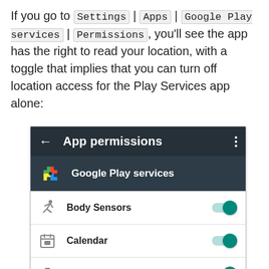If you go to Settings | Apps | Google Play services | Permissions, you'll see the app has the right to read your location, with a toggle that implies that you can turn off location access for the Play Services app alone:
[Figure (screenshot): Android App permissions screen showing Google Play services with Body Sensors, Calendar, and Camera permissions all toggled on (teal toggle switches)]